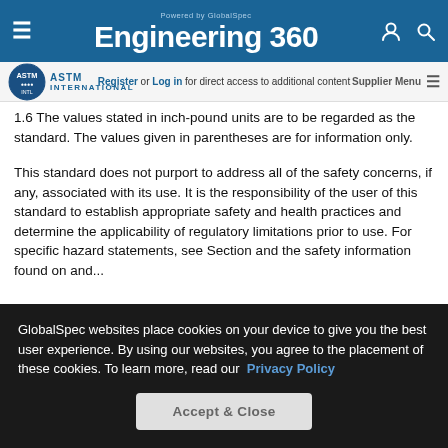Powered by GlobalSpec Engineering 360
Register or Log in for direct access to additional content | Supplier Menu
1.6 The values stated in inch-pound units are to be regarded as the standard. The values given in parentheses are for information only.
This standard does not purport to address all of the safety concerns, if any, associated with its use. It is the responsibility of the user of this standard to establish appropriate safety and health practices and determine the applicability of regulatory limitations prior to use. For specific hazard statements, see Section and...
GlobalSpec websites place cookies on your device to give you the best user experience. By using our websites, you agree to the placement of these cookies. To learn more, read our Privacy Policy
Accept & Close